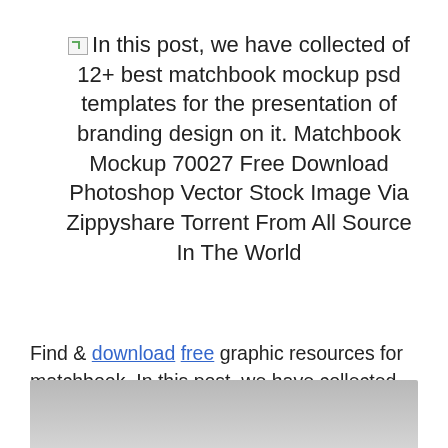In this post, we have collected of 12+ best matchbook mockup psd templates for the presentation of branding design on it. Matchbook Mockup 70027 Free Download Photoshop Vector Stock Image Via Zippyshare Torrent From All Source In The World
Find & download free graphic resources for matchbook. In this post, we have collected of 12+ best matchbook mockup psd templates for the presentation of branding design on it. Matchsticks presented in matchbox psd mockup. If you are working on hotel, .
[Figure (photo): Gray gradient bar at the bottom of the page, partially visible]